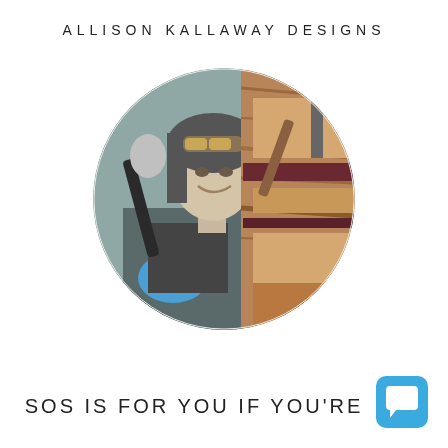ALLISON KALLAWAY DESIGNS
[Figure (photo): Circular cropped photo of a smiling woman wearing welding goggles on her head and a blue-painted apron, holding tools in a workshop. The left portion is black and white, the right portion shows colorful wooden craftwork.]
SOS IS FOR YOU IF YOU'RE